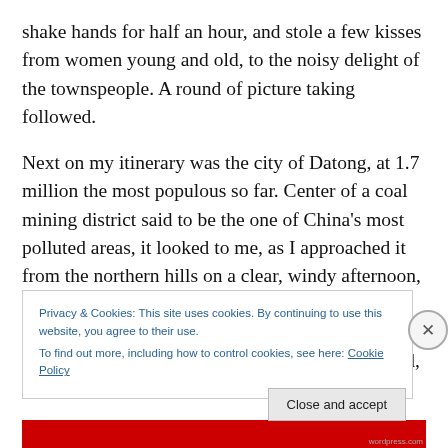shake hands for half an hour, and stole a few kisses from women young and old, to the noisy delight of the townspeople. A round of picture taking followed.
Next on my itinerary was the city of Datong, at 1.7 million the most populous so far. Center of a coal mining district said to be the one of China's most polluted areas, it looked to me, as I approached it from the northern hills on a clear, windy afternoon, like a huge, gleaming metropolis on a twisting, shining river. Before I reached it, however, I had an unfortunate experience. Either I lost the main road, or
Privacy & Cookies: This site uses cookies. By continuing to use this website, you agree to their use.
To find out more, including how to control cookies, see here: Cookie Policy